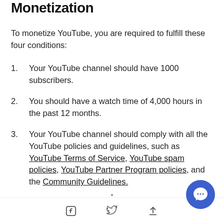Monetization
To monetize YouTube, you are required to fulfill these four conditions:
Your YouTube channel should have 1000 subscribers.
You should have a watch time of 4,000 hours in the past 12 months.
Your YouTube channel should comply with all the YouTube policies and guidelines, such as YouTube Terms of Service, YouTube spam policies, YouTube Partner Program policies, and the Community Guidelines.
Facebook share | Twitter share | Share up